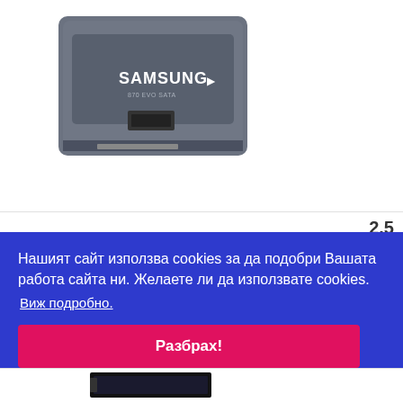[Figure (photo): Samsung SSD drive product photo, dark grey rectangular drive labeled SAMSUNG]
2.5
Нашият сайт използва cookies за да подобри Вашата работа сайта ни. Желаете ли да използвате cookies.
Виж подробно.
купи
Разбрах!
[Figure (photo): Partially visible product image at the bottom of the page]